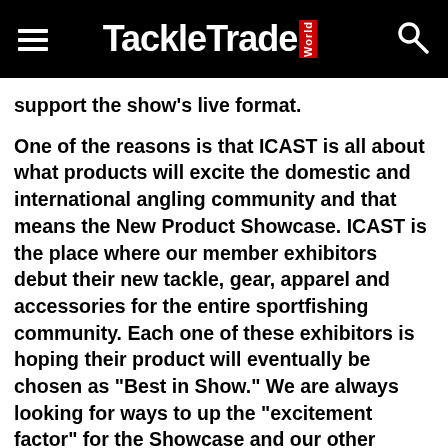TackleTrade World
support the show's live format.

One of the reasons is that ICAST is all about what products will excite the domestic and international angling community and that means the New Product Showcase. ICAST is the place where our member exhibitors debut their new tackle, gear, apparel and accessories for the entire sportfishing community. Each one of these exhibitors is hoping their product will eventually be chosen as “Best in Show.” We are always looking for ways to up the “excitement factor” for the Showcase and our other events to ensure is a good business investment for everyone.